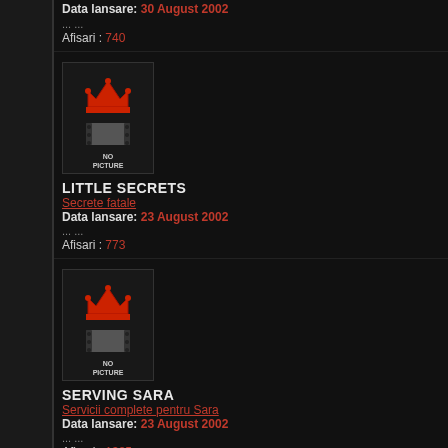Data lansare: 30 August 2002
... ...
Afisari : 740
[Figure (illustration): No picture placeholder with red crown logo]
LITTLE SECRETS
Secrete fatale
Data lansare: 23 August 2002
... ...
Afisari : 773
[Figure (illustration): No picture placeholder with red crown logo]
SERVING SARA
Servicii complete pentru Sara
Data lansare: 23 August 2002
... ...
Afisari : 1385
[Figure (illustration): No picture placeholder with red crown logo (partial)]